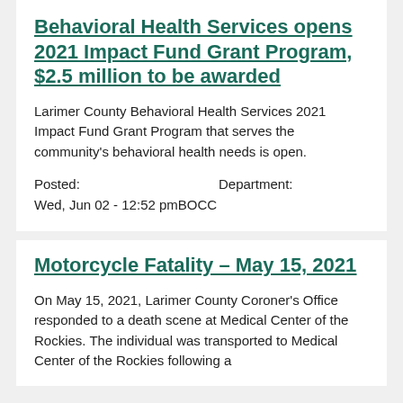Behavioral Health Services opens 2021 Impact Fund Grant Program, $2.5 million to be awarded
Larimer County Behavioral Health Services 2021 Impact Fund Grant Program that serves the community's behavioral health needs is open.
Posted: Wed, Jun 02 - 12:52 pm  Department: BOCC
Motorcycle Fatality – May 15, 2021
On May 15, 2021, Larimer County Coroner's Office responded to a death scene at Medical Center of the Rockies. The individual was transported to Medical Center of the Rockies following a